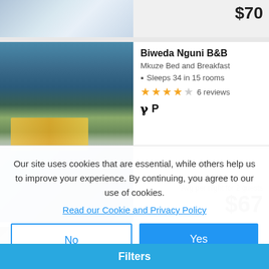[Figure (photo): Partial top strip showing previous listing photo and price $70]
$70
[Figure (photo): Biweda Nguni B&B listing photo showing illuminated house at night with large tree and swimming pool]
Biweda Nguni B&B
Mkuze Bed and Breakfast
Sleeps 34 in 15 rooms
★★★★☆ 6 reviews
Avg per night for 2 guests
$67
[Figure (photo): Partial bottom listing showing textured fabric/carpet photo]
ight $44
Our site uses cookies that are essential, while others help us to improve your experience. By continuing, you agree to our use of cookies.
Read our Cookie and Privacy Policy
No
Yes
Filters